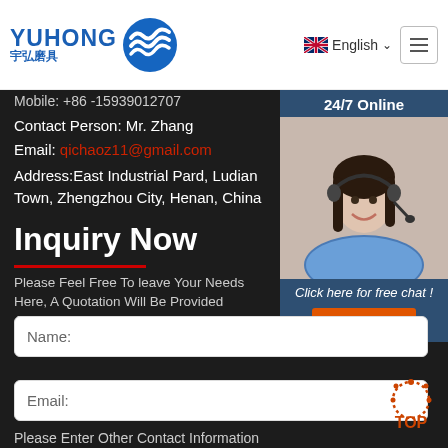[Figure (logo): Yuhong logo with blue wave icon and text '宇弘磨具']
English
Mobile: +86 -15939012707
Contact Person: Mr. Zhang
Email: qichaoz11@gmail.com
Address:East Industrial Pard, Ludian Town, Zhengzhou City, Henan, China
Inquiry Now
Please Feel Free To leave Your Needs Here, A Quotation Will Be Provided According To Your R...
[Figure (photo): Customer service agent woman with headset smiling]
24/7 Online
Click here for free chat !
QUOTATION
Name:
Email:
Please Enter Other Contact Information